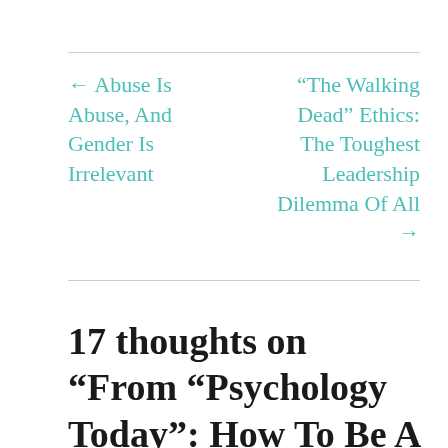← Abuse Is Abuse, And Gender Is Irrelevant
“The Walking Dead” Ethics: The Toughest Leadership Dilemma Of All →
17 thoughts on “From “Psychology Today”: How To Be A Better Liar—And A